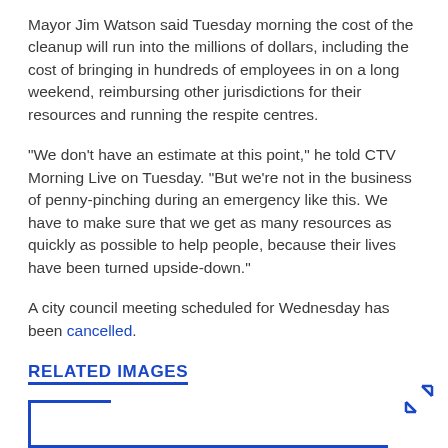Mayor Jim Watson said Tuesday morning the cost of the cleanup will run into the millions of dollars, including the cost of bringing in hundreds of employees in on a long weekend, reimbursing other jurisdictions for their resources and running the respite centres.
"We don't have an estimate at this point," he told CTV Morning Live on Tuesday. "But we're not in the business of penny-pinching during an emergency like this. We have to make sure that we get as many resources as quickly as possible to help people, because their lives have been turned upside-down."
A city council meeting scheduled for Wednesday has been cancelled.
RELATED IMAGES